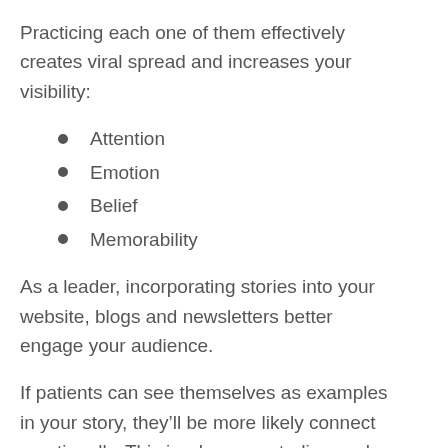Practicing each one of them effectively creates viral spread and increases your visibility:
Attention
Emotion
Belief
Memorability
As a leader, incorporating stories into your website, blogs and newsletters better engage your audience.
If patients can see themselves as examples in your story, they'll be more likely connect emotionally. This is why case studies work so well.